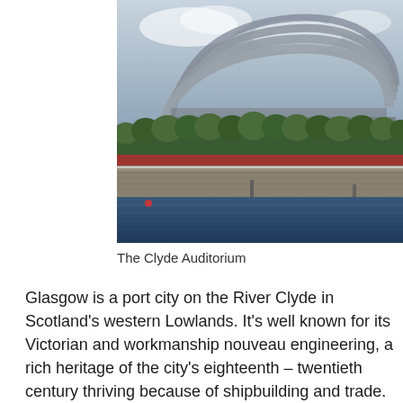[Figure (photo): Photograph of the Clyde Auditorium in Glasgow, showing its distinctive curved metallic arch roof structure, with green trees along the riverside, red banners, a stone embankment wall, and the River Clyde in the foreground under a cloudy sky.]
The Clyde Auditorium
Glasgow is a port city on the River Clyde in Scotland's western Lowlands. It's well known for its Victorian and workmanship nouveau engineering, a rich heritage of the city's eighteenth – twentieth century thriving because of shipbuilding and trade. Today it's a national cultural center point, home to organizations including the Scottish Ballet, Scottish